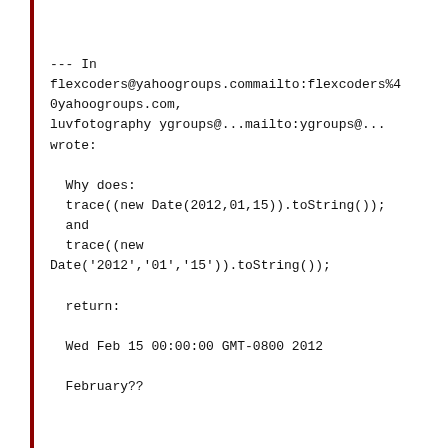--- In flexcoders@yahoogroups.commailto:flexcoders%40yahoogroups.com, luvfotography ygroups@...mailto:ygroups@... wrote:

  Why does:
  trace((new Date(2012,01,15)).toString());
  and
  trace((new
Date('2012','01','15')).toString());

  return:

  Wed Feb 15 00:00:00 GMT-0800 2012

  February??



--